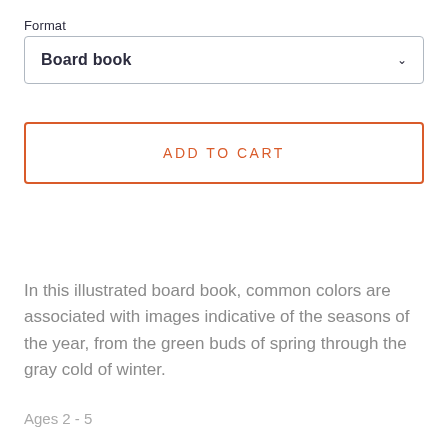Format
Board book
ADD TO CART
In this illustrated board book, common colors are associated with images indicative of the seasons of the year, from the green buds of spring through the gray cold of winter.
Ages 2 - 5